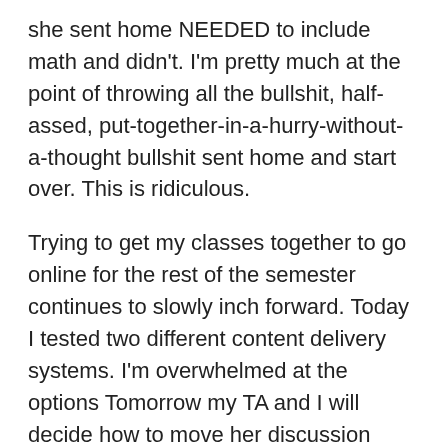she sent home NEEDED to include math and didn't. I'm pretty much at the point of throwing all the bullshit, half-assed, put-together-in-a-hurry-without-a-thought bullshit sent home and start over. This is ridiculous.
Trying to get my classes together to go online for the rest of the semester continues to slowly inch forward. Today I tested two different content delivery systems. I'm overwhelmed at the options Tomorrow my TA and I will decide how to move her discussion sessions online. I also want to finalize my class syllabi and start recording lectures. I'm sort of terrified of getting sick and not being able to get information to my students. I figure if I can record 5 minutes on each topic, at least they'll have some of my insight.
Today's bright spot to all this: not being afraid because of